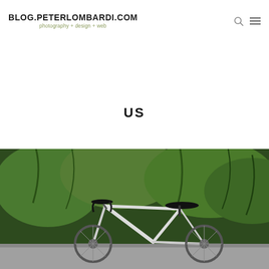BLOG.PETERLOMBARDI.COM photography + design + web
US
[Figure (photo): A white road bicycle with drop handlebars and black saddle leaning against a stone surface, with lush green trees and foliage in the background. The bike has a pale silver/white frame with red accent lettering.]